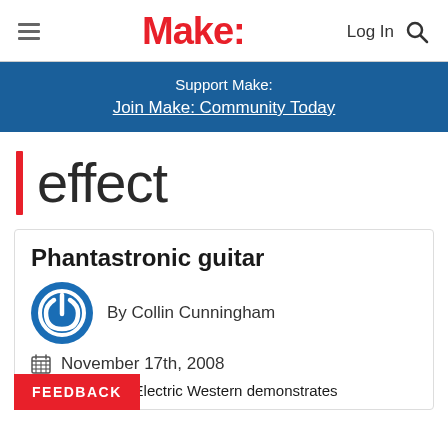Make:
Support Make:
Join Make: Community Today
effect
Phantastronic guitar
By Collin Cunningham
November 17th, 2008
FEEDBACK
Lorin Parker of Electric Western demonstrates